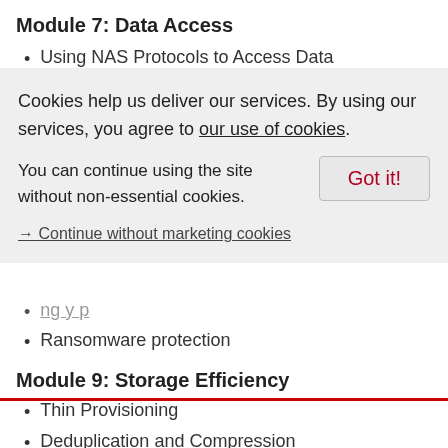Module 7: Data Access
Using NAS Protocols to Access Data
[Figure (screenshot): Cookie consent banner overlay with message 'Cookies help us deliver our services. By using our services, you agree to our use of cookies.' with a 'Got it!' button, and a link '→ Continue without marketing cookies']
Ransomware protection
Module 9: Storage Efficiency
Thin Provisioning
Deduplication and Compression
Flash Efficiency